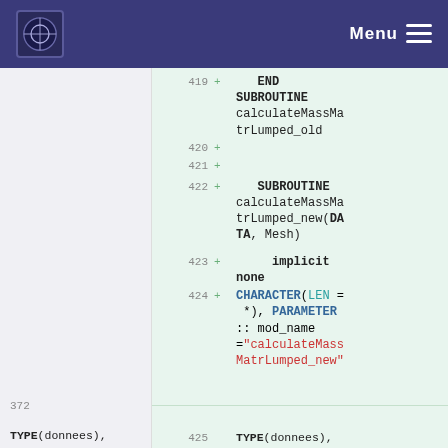Menu
419 + END SUBROUTINE calculateMassMatrLumped_old
420 +
421 +
422 + SUBROUTINE calculateMassMatrLumped_new(DATA, Mesh)
423 +     implicit none
424 + CHARACTER(LEN = *), PARAMETER :: mod_name ="calculateMassMatrLumped_new"
425 +
372
TYPE(donnees),
425
TYPE(donnees),